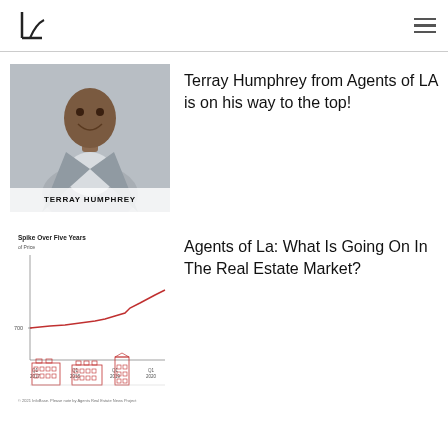LA logo and navigation
[Figure (photo): Photo of Terray Humphrey in a grey suit, smiling. Bottom label reads TERRAY HUMPHREY.]
Terray Humphrey from Agents of LA is on his way to the top!
[Figure (line-chart): Line chart showing a price spike over five years with a red line. Y-axis shows value around 700. X-axis shows Q1 2017, Q1 2018, Q1 2019, Q1 2020.]
Agents of La: What Is Going On In The Real Estate Market?